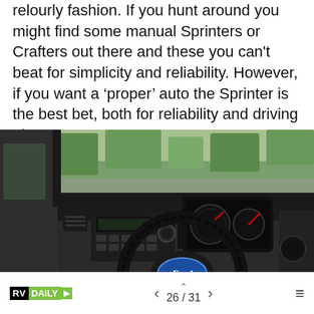relourly fashion. If you hunt around you might find some manual Sprinters or Crafters out there and these you can't beat for simplicity and reliability. However, if you want a 'proper' auto the Sprinter is the best bet, both for reliability and driving pleasure.
[Figure (photo): Interior of a Ford van/Transit showing the steering wheel with Ford logo, dashboard with radio/controls, instrument cluster with gauges, and windscreen view of greenery outside.]
RVDAILY  <  26 / 31  >  ≡